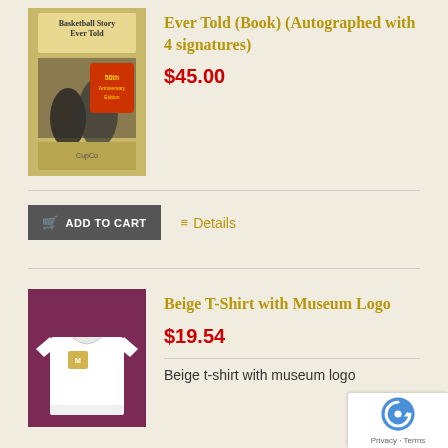[Figure (photo): Book cover for 'Basketball Story Ever Told' with 50th anniversary edition label]
Ever Told (Book) (Autographed with 4 signatures)
$45.00
ADD TO CART
Details
[Figure (photo): White beige t-shirt with museum logo on a purple/burgundy background]
Beige T-Shirt with Museum Logo
$19.54
Beige t-shirt with museum logo